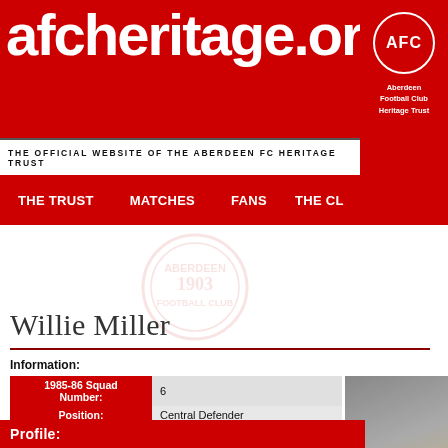afcheritage.org — THE OFFICIAL WEBSITE OF THE ABERDEEN FC HERITAGE TRUST
Nav: THE TRUST | MATCHES | FANS | THE CL...
Willie Miller
Information:
| Field | Value |
| --- | --- |
| 1985-86 Squad Number: | 6 |
| Position: | Central Defender |
| Date of Birth: | 02nd May 1955 |
| Birthplace: | Glasgow |
| Nationality: | Scottish |
| Height: | 5' 10 |
| Weight: | 11st 8lbs |
| Signed: | 10/07/72 |
| Career History: | NOTE: Player Career history has been temporarily removed for data cleanse. |
Profile: